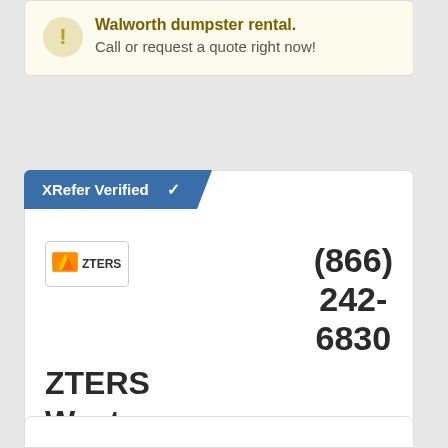There is a high demand for Walworth dumpster rental. Call or request a quote right now!
XRefer Verified ✓
[Figure (logo): ZTERS company logo with orange and yellow graphic element]
(866) 242-6830
ZTERS Waste Value
Verified: ✓ Insurance | ✓ License
Serving: Macedon, Newark, Henrietta, Richmond and throughout Walworth.
Specializing in: ...